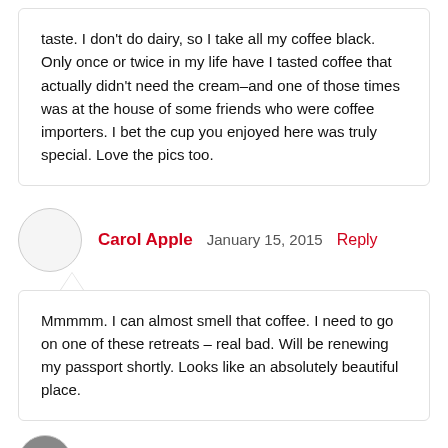taste. I don't do dairy, so I take all my coffee black. Only once or twice in my life have I tasted coffee that actually didn't need the cream–and one of those times was at the house of some friends who were coffee importers. I bet the cup you enjoyed here was truly special. Love the pics too.
Carol Apple  January 15, 2015  Reply
Mmmmm. I can almost smell that coffee. I need to go on one of these retreats – real bad. Will be renewing my passport shortly. Looks like an absolutely beautiful place.